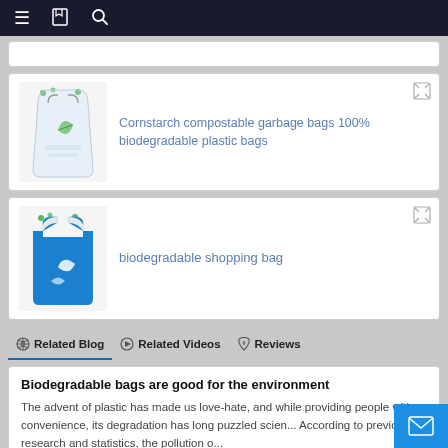Navigation bar with menu, bookmark, and search icons
[Figure (photo): Partial product card at top, white background with border]
[Figure (photo): Cornstarch compostable garbage bags product image - clear bag with green leaf design]
Cornstarch compostable garbage bags 100% biodegradable plastic bags
[Figure (photo): Biodegradable shopping bag product image - blue t-shirt style shopping bag]
biodegradable shopping bag
Related Blog  Related Videos  Reviews
Biodegradable bags are good for the environment
The advent of plastic has made us love-hate, and while providing people with convenience, its degradation has long puzzled scien... According to previous research and statistics, the pollution o...